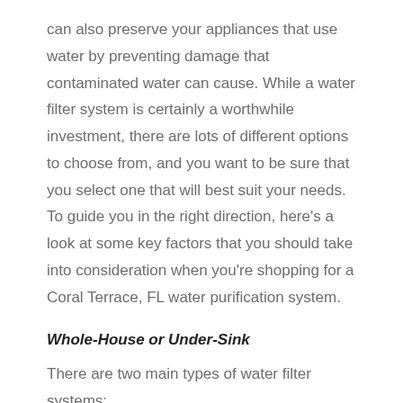can also preserve your appliances that use water by preventing damage that contaminated water can cause. While a water filter system is certainly a worthwhile investment, there are lots of different options to choose from, and you want to be sure that you select one that will best suit your needs. To guide you in the right direction, here's a look at some key factors that you should take into consideration when you're shopping for a Coral Terrace, FL water purification system.
Whole-House or Under-Sink
There are two main types of water filter systems: